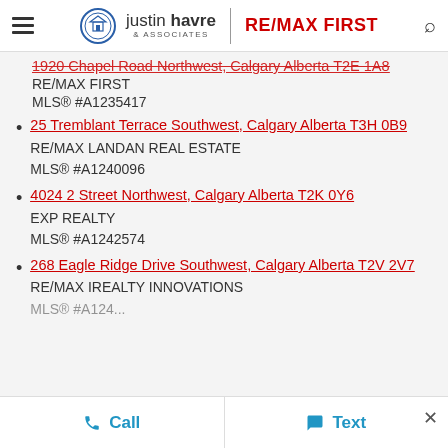Justin Havre & Associates | RE/MAX FIRST
1920 Chapel Road Northwest, Calgary Alberta T2E 1A8
RE/MAX FIRST
MLS® #A1235417
25 Tremblant Terrace Southwest, Calgary Alberta T3H 0B9
RE/MAX LANDAN REAL ESTATE
MLS® #A1240096
4024 2 Street Northwest, Calgary Alberta T2K 0Y6
EXP REALTY
MLS® #A1242574
268 Eagle Ridge Drive Southwest, Calgary Alberta T2V 2V7
RE/MAX IREALTY INNOVATIONS
MLS® #A124...
Call   Text